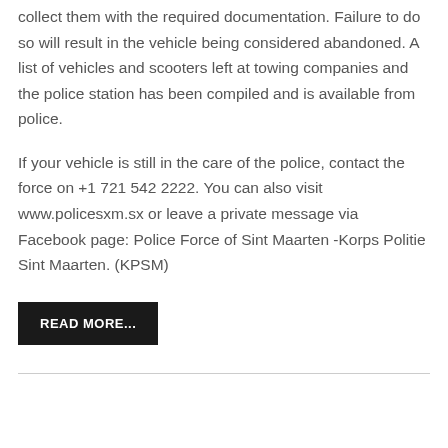collect them with the required documentation. Failure to do so will result in the vehicle being considered abandoned. A list of vehicles and scooters left at towing companies and the police station has been compiled and is available from police.
If your vehicle is still in the care of the police, contact the force on +1 721 542 2222. You can also visit www.policesxm.sx or leave a private message via Facebook page: Police Force of Sint Maarten -Korps Politie Sint Maarten. (KPSM)
READ MORE...